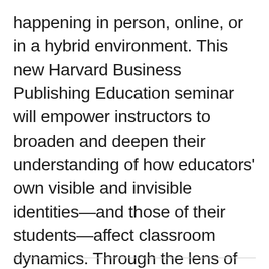happening in person, online, or in a hybrid environment. This new Harvard Business Publishing Education seminar will empower instructors to broaden and deepen their understanding of how educators' own visible and invisible identities—and those of their students—affect classroom dynamics. Through the lens of self and identity, the program will explore actionable approaches educators can take to create an…